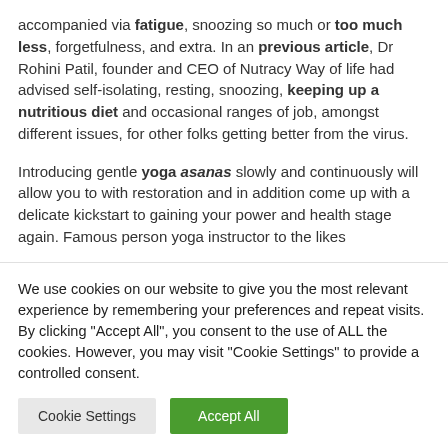accompanied via fatigue, snoozing so much or too much less, forgetfulness, and extra. In an previous article, Dr Rohini Patil, founder and CEO of Nutracy Way of life had advised self-isolating, resting, snoozing, keeping up a nutritious diet and occasional ranges of job, amongst different issues, for other folks getting better from the virus.
Introducing gentle yoga asanas slowly and continuously will allow you to with restoration and in addition come up with a delicate kickstart to gaining your power and health stage again. Famous person yoga instructor to the likes
We use cookies on our website to give you the most relevant experience by remembering your preferences and repeat visits. By clicking "Accept All", you consent to the use of ALL the cookies. However, you may visit "Cookie Settings" to provide a controlled consent.